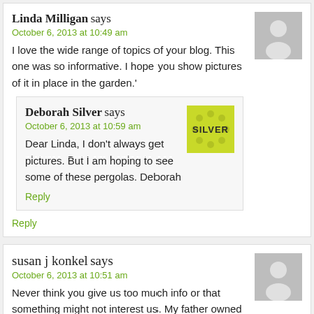Linda Milligan says
October 6, 2013 at 10:49 am
I love the wide range of topics of your blog. This one was so informative. I hope you show pictures of it in place in the garden.'
Reply
Deborah Silver says
October 6, 2013 at 10:59 am
Dear Linda, I don't always get pictures. But I am hoping to see some of these pergolas. Deborah
Reply
susan j konkel says
October 6, 2013 at 10:51 am
Never think you give us too much info or that something might not interest us. My father owned a